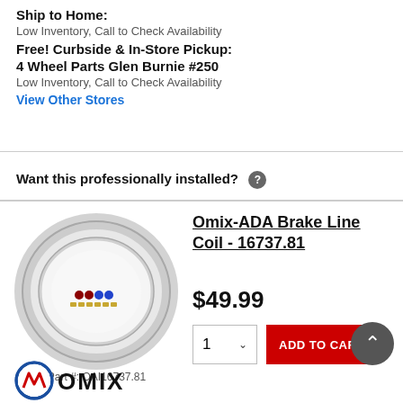Ship to Home:
Low Inventory, Call to Check Availability
Free! Curbside & In-Store Pickup:
4 Wheel Parts Glen Burnie #250
Low Inventory, Call to Check Availability
View Other Stores
Want this professionally installed? ?
[Figure (photo): Omix-ADA Brake Line Coil product photo showing a coil of metal brake line tubing with fittings]
Part #: OAI16737.81
Omix-ADA Brake Line Coil - 16737.81
$49.99
1  ADD TO CART
[Figure (logo): Omix logo at bottom]